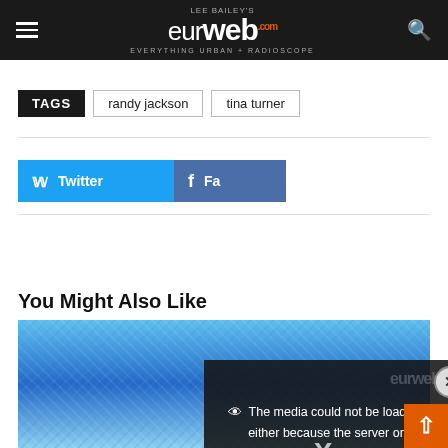Lee Bailey's eurweb.com — Everything Urban + Radioscope
TAGS  randy jackson  tina turner
[Figure (screenshot): Twitter and Facebook share buttons with a video error overlay popup reading: The media could not be loaded, either because the server or network failed or because the format is not supported. A close (X) button appears at top right of overlay.]
You Might Also Like
[Figure (photo): Close-up photo of a blue sparkly/sequined top or dress, partially cropped.]